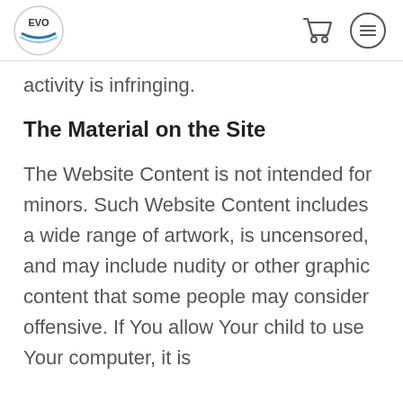EVO logo, shopping cart icon, menu icon
activity is infringing.
The Material on the Site
The Website Content is not intended for minors. Such Website Content includes a wide range of artwork, is uncensored, and may include nudity or other graphic content that some people may consider offensive. If You allow Your child to use Your computer, it is